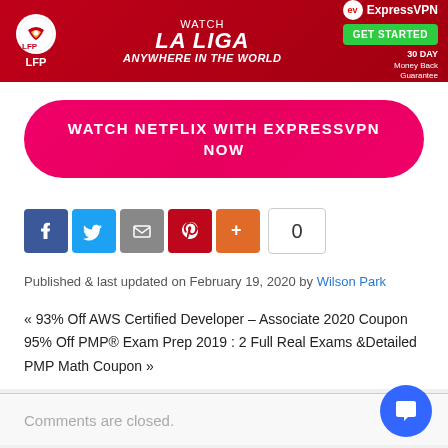[Figure (infographic): Banner ad for ExpressVPN featuring LFP La Liga logo - Watch La Liga Anywhere in the World with ExpressVPN - GET STARTED - 30 Day Money Back Guarantee]
[Figure (infographic): Pink rounded button CTA: WATCH NETFLIX WITH EXPRESSVPN NOW]
[Figure (infographic): Social share buttons: Facebook, Twitter, Email, Pinterest, Plus, count 0]
Published & last updated on February 19, 2020 by Wilson Park
« 93% Off AWS Certified Developer – Associate 2020 Coupon 95% Off PMP® Exam Prep 2019 : 2 Full Real Exams &Detailed PMP Math Coupon »
Comments are closed.